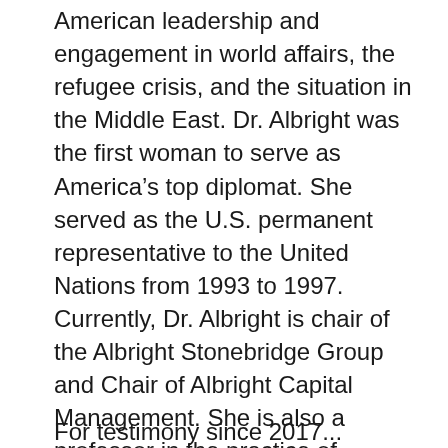American leadership and engagement in world affairs, the refugee crisis, and the situation in the Middle East.  Dr. Albright was the first woman to serve as America's top diplomat.  She served as the U.S. permanent representative to the United Nations from 1993 to 1997.  Currently, Dr. Albright is chair of the Albright Stonebridge Group and Chair of Albright Capital Management.  She is also a professor in the practice of diplomacy at the Georgetown University School of Foreign Service and is a member of the Defense Policy Board at the U.S. Department of Defense.  Dr. Albright received the Presidential Medal of Freedom, the nation's highest civilian honor, in 2012. The Smart Women, Smart Power (SWSP) initiative is designed to amplify the voices of women in foreign policy, national security, and international business.
For testimony since 2017...